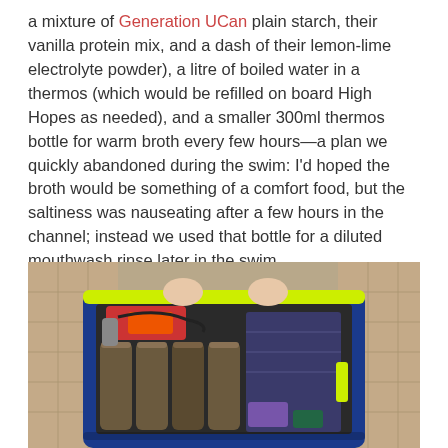a mixture of Generation UCan plain starch, their vanilla protein mix, and a dash of their lemon-lime electrolyte powder), a litre of boiled water in a thermos (which would be refilled on board High Hopes as needed), and a smaller 300ml thermos bottle for warm broth every few hours—a plan we quickly abandoned during the swim: I'd hoped the broth would be something of a comfort food, but the saltiness was nauseating after a few hours in the channel; instead we used that bottle for a diluted mouthwash rinse later in the swim.
[Figure (photo): A blue bag with neon yellow trim open on a bed or sofa, containing cylindrical thermos bottles and red/orange accessories, with a quilted beige surface visible in the background.]